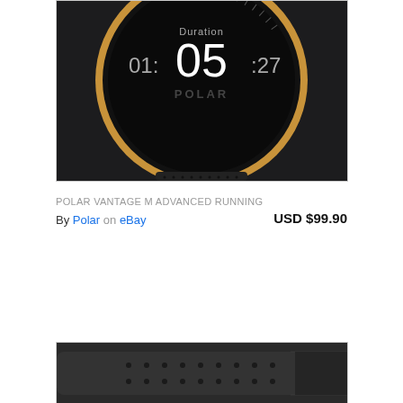[Figure (photo): Polar Vantage M smartwatch close-up showing the face with 'Duration 01:05:27' displayed, gold/copper bezel with black band, POLAR logo on face]
POLAR VANTAGE M ADVANCED RUNNING
By Polar on eBay
USD $99.90
[Figure (photo): Close-up of black perforated Polar watch strap/band]